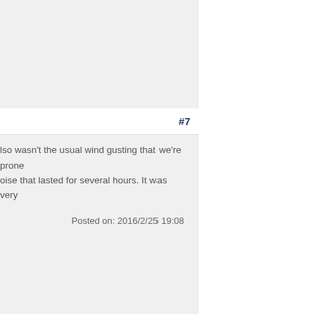#7
lso wasn't the usual wind gusting that we're prone oise that lasted for several hours. It was very
Posted on: 2016/2/25 19:08